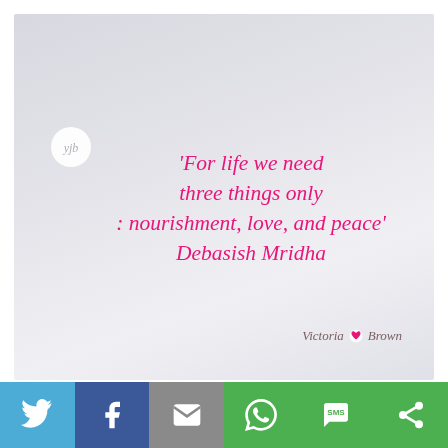[Figure (illustration): Light grey-blue watercolor textured card background with a small white heart badge showing 'yjb' in grey italic text]
'For life we need three things only : nourishment, love, and peace' Debasish Mridha
Victoria ♥ Brown
[Figure (infographic): Social sharing bar with Twitter, Facebook, Email, WhatsApp, SMS, and share icons on colored backgrounds]